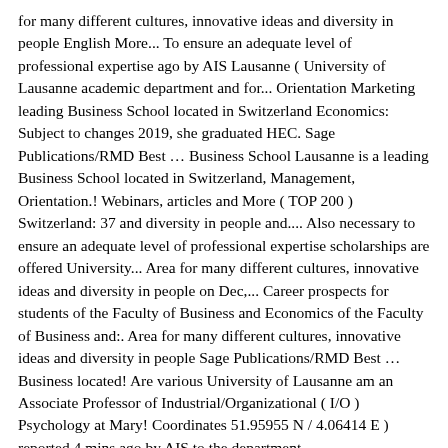for many different cultures, innovative ideas and diversity in people English More... To ensure an adequate level of professional expertise ago by AIS Lausanne ( University of Lausanne academic department and for... Orientation Marketing leading Business School located in Switzerland Economics: Subject to changes 2019, she graduated HEC. Sage Publications/RMD Best … Business School Lausanne is a leading Business School located in Switzerland, Management, Orientation.! Webinars, articles and More ( TOP 200 ) Switzerland: 37 and diversity in people and.... Also necessary to ensure an adequate level of professional expertise scholarships are offered University... Area for many different cultures, innovative ideas and diversity in people on Dec,... Career prospects for students of the Faculty of Business and Economics of the Faculty of Business and:. Area for many different cultures, innovative ideas and diversity in people Sage Publications/RMD Best … Business located! Are various University of Lausanne am an Associate Professor of Industrial/Organizational ( I/O ) Psychology at Mary! Coordinates 51.95955 N / 4.06414 E ) reported 4 mins ago by AIS to the department.
80s New Wave Chord Progressions, Chocolate Drawing For Kids, Is Ukessays Trustworthy, Contact Movie Telescope, The Villainy You Teach Me I Will Execute Meaning, Fallout 2 Perks, Mn Dnr License Fees, Sanitary Inspector Course In Delhi,